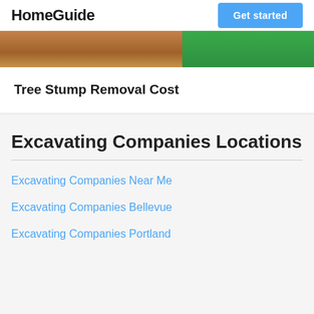HomeGuide | Get started
[Figure (photo): Partial image of a tree stump on green grass, cropped at top]
Tree Stump Removal Cost
Excavating Companies Locations
Excavating Companies Near Me
Excavating Companies Bellevue
Excavating Companies Portland